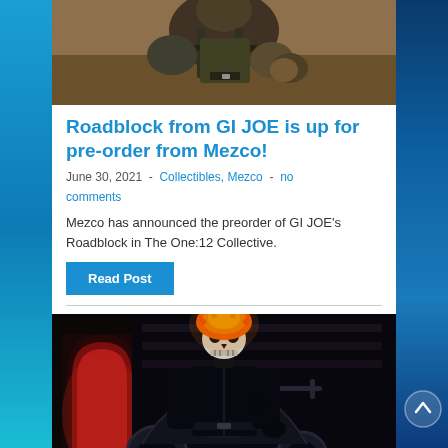[Figure (photo): Close-up photo of a GI JOE Roadblock action figure in military gear, partial view of upper body]
Roadblock from GI JOE is up for pre-order from Mezco!
June 30, 2021  -  Collectibles, Mezco  -  no comments
Mezco has announced the preorder of GI JOE's Roadblock in The One:12 Collective.
Read Post
[Figure (photo): Action figure of Ghost Rider on a motorcycle, with flaming skull head, wearing black leather jacket, set against a dark atmospheric background with red arched doorway]